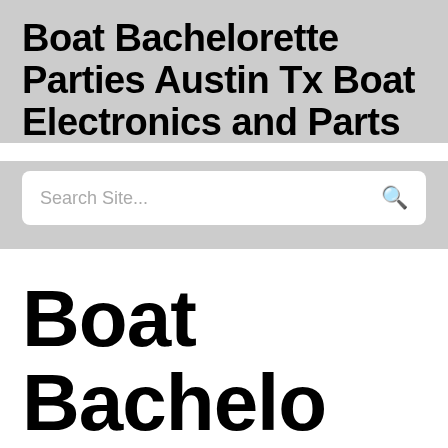Boat Bachelorette Parties Austin Tx Boat Electronics and Parts
[Figure (screenshot): Search box with placeholder text 'Search Site...' and a search icon on the right]
Boat Bachelorette